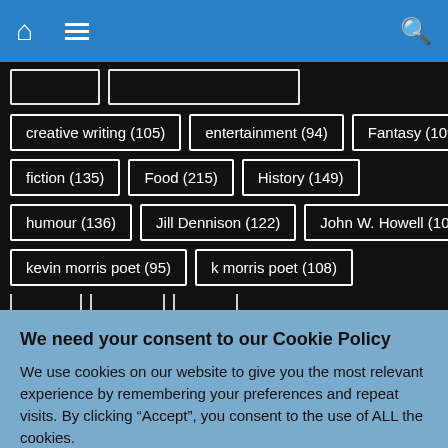Navigation bar with home, menu, and search icons
creative writing (105)
entertainment (94)
Fantasy (109)
fiction (135)
Food (215)
History (149)
humour (136)
Jill Dennison (122)
John W. Howell (100)
kevin morris poet (95)
k morris poet (108)
We need your consent to our Cookie Policy
We use cookies on our website to give you the most relevant experience by remembering your preferences and repeat visits. By clicking “Accept”, you consent to the use of ALL the cookies.
Do not sell my personal information.
Cookie Settings  Accept